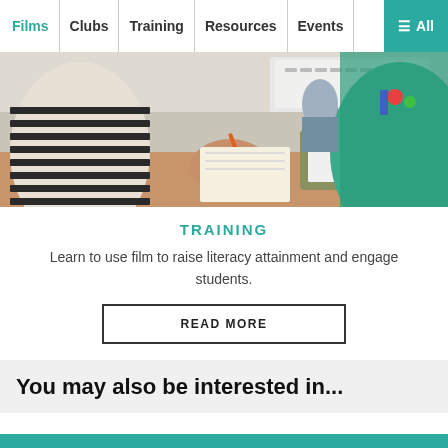Films | Clubs | Training | Resources | Events | ≡ All
[Figure (photo): Students in a classroom using tablets and writing, with a teacher in the background near a whiteboard.]
TRAINING
Learn to use film to raise literacy attainment and engage students.
READ MORE
You may also be interested in...